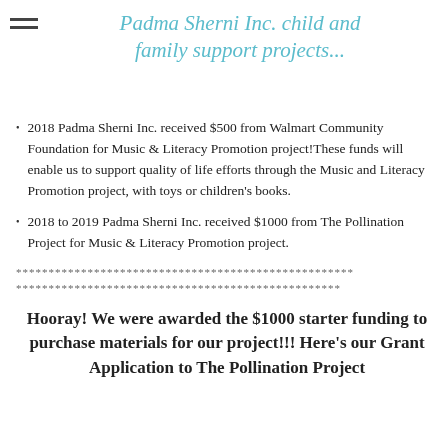Padma Sherni Inc. child and family support projects...
2018 Padma Sherni Inc. received $500 from Walmart Community Foundation for Music & Literacy Promotion project!These funds will enable us to support quality of life efforts through the Music and Literacy Promotion project, with toys or children's books.
2018 to 2019 Padma Sherni Inc. received $1000 from The Pollination Project for Music & Literacy Promotion project.
****************************************************
****************************************************
Hooray! We were awarded the $1000 starter funding to purchase materials for our project!!! Here's our Grant Application to The Pollination Project